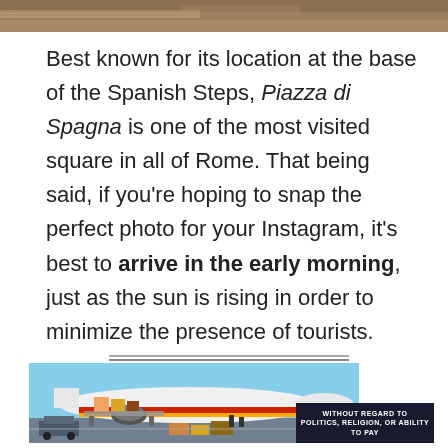[Figure (photo): Partial photo visible at top of page, showing warm brown/tan tones, possibly a travel location]
Best known for its location at the base of the Spanish Steps, Piazza di Spagna is one of the most visited square in all of Rome. That being said, if you're hoping to snap the perfect photo for your Instagram, it's best to arrive in the early morning, just as the sun is rising in order to minimize the presence of tourists.
[Figure (photo): Advertisement banner showing an airplane being loaded with cargo, with text overlay reading 'WITHOUT REGARD TO POLITICS, RELIGION, OR ABILITY TO PAY']